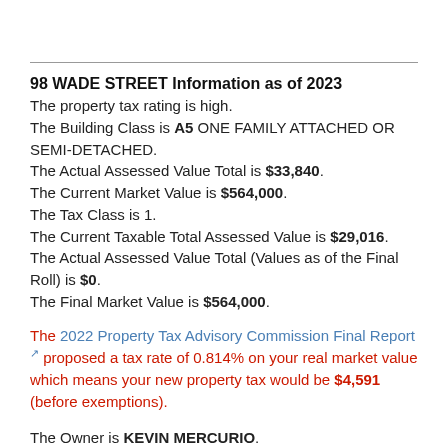98 WADE STREET Information as of 2023
The property tax rating is high. The Building Class is A5 ONE FAMILY ATTACHED OR SEMI-DETACHED. The Actual Assessed Value Total is $33,840. The Current Market Value is $564,000. The Tax Class is 1. The Current Taxable Total Assessed Value is $29,016. The Actual Assessed Value Total (Values as of the Final Roll) is $0. The Final Market Value is $564,000.
The 2022 Property Tax Advisory Commission Final Report [external link] proposed a tax rate of 0.814% on your real market value which means your new property tax would be $4,591 (before exemptions).
The Owner is KEVIN MERCURIO. Source of information is NYC Department of Finance see NYC Finance Document Source